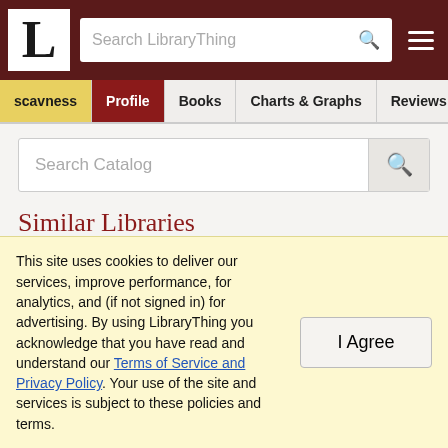LibraryThing - Search LibraryThing
scavness | Profile | Books | Charts & Graphs | Reviews
Search Catalog
Similar Libraries
Weighted | Raw | Recent
This site uses cookies to deliver our services, improve performance, for analytics, and (if not signed in) for advertising. By using LibraryThing you acknowledge that you have read and understand our Terms of Service and Privacy Policy. Your use of the site and services is subject to these policies and terms.